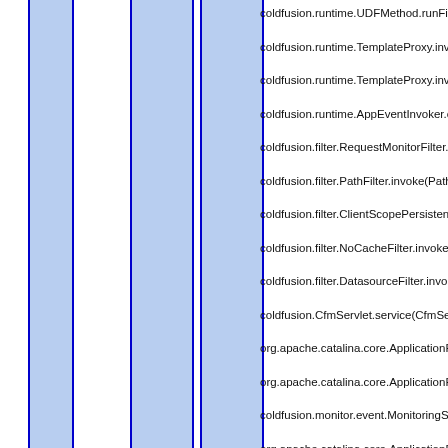[Figure (other): Blue highlighted column regions with dark blue borders forming vertical stripes on the left half of the page]
coldfusion.runtime.UDFMethod.runFilterChain(UDFMeth
coldfusion.runtime.TemplateProxy.invoke(TemplateProxy
coldfusion.runtime.TemplateProxy.invoke(TemplateProxy
coldfusion.runtime.AppEventInvoker.onRequest(AppEve
coldfusion.filter.RequestMonitorFilter.invoke(RequestMo
coldfusion.filter.PathFilter.invoke(PathFilter.java:162) at c
coldfusion.filter.ClientScopePersistenceFilter.invoke(Clie
coldfusion.filter.NoCacheFilter.invoke(NoCacheFilter.java
coldfusion.filter.DatasourceFilter.invoke(DatasourceFilte
coldfusion.CfmServlet.service(CfmServlet.java:226) at c
org.apache.catalina.core.ApplicationFilterChain.internalD
org.apache.catalina.core.ApplicationFilterChain.doFilter(
coldfusion.monitor.event.MonitoringServletFilter.doFilter
org.apache.catalina.core.ApplicationFilterChain.internalD